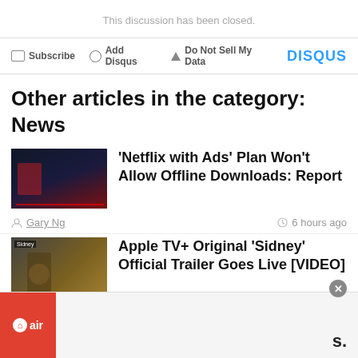This discussion has been closed.
Subscribe   Add Disqus   Do Not Sell My Data   DISQUS
Other articles in the category: News
[Figure (photo): Dark exterior building photo (Netflix article thumbnail)]
‘Netflix with Ads’ Plan Won’t Allow Offline Downloads: Report
Gary Ng   6 hours ago
[Figure (photo): Sidney documentary thumbnail with person]
Apple TV+ Original ‘Sidney’ Official Trailer Goes Live [VIDEO]
Usman Qureshi   9 hours ago
[Figure (other): Airbnb advertisement banner partially visible at bottom]